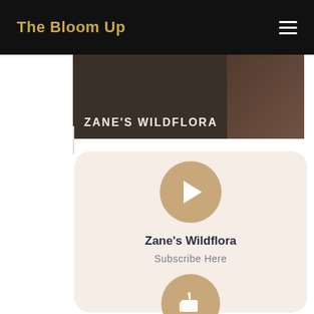The Bloom Up
[Figure (screenshot): Video thumbnail showing 'ZANE'S WILDFLORA' text overlay on a dark background with a person visible on the right side]
Zane's Wildflora
Subscribe Here
[Figure (illustration): Thumbs up icon in a golden-tan circle, partially visible at bottom of card]